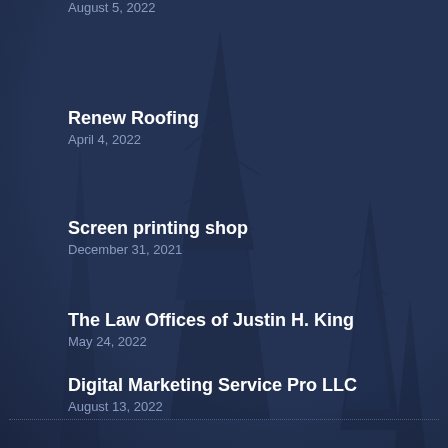August 5, 2022
Renew Roofing
April 4, 2022
Screen printing shop
December 31, 2021
The Law Offices of Justin H. King
May 24, 2022
Digital Marketing Service Pro LLC
August 13, 2022